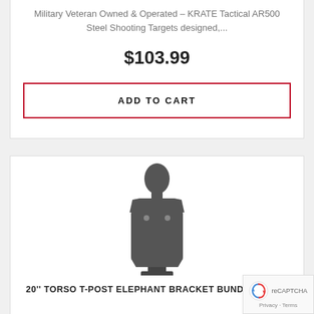Military Veteran Owned & Operated – KRATE Tactical AR500 Steel Shooting Targets designed,...
$103.99
ADD TO CART
[Figure (photo): Steel torso-shaped IPSC/IDPA shooting target with T-post elephant bracket mount, shown in dark gray/black against white background]
20'' TORSO T-POST ELEPHANT BRACKET BUNDLE- 3/8''...